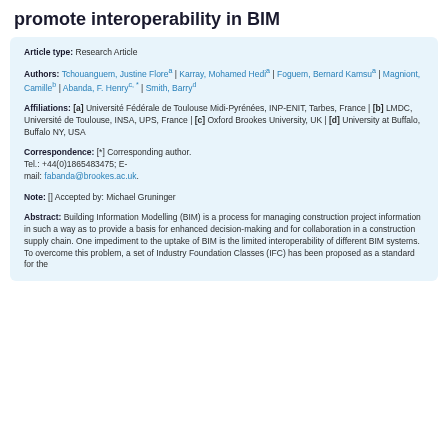promote interoperability in BIM
Article type: Research Article
Authors: Tchouanguem, Justine Flore^a | Karray, Mohamed Hedi^a | Foguem, Bernard Kamsu^a | Magniont, Camille^b | Abanda, F. Henry^(c, *) | Smith, Barry^d
Affiliations: [a] Université Fédérale de Toulouse Midi-Pyrénées, INP-ENIT, Tarbes, France | [b] LMDC, Université de Toulouse, INSA, UPS, France | [c] Oxford Brookes University, UK | [d] University at Buffalo, Buffalo NY, USA
Correspondence: [*] Corresponding author. Tel.: +44(0)1865483475; E-mail: fabanda@brookes.ac.uk.
Note: [] Accepted by: Michael Gruninger
Abstract: Building Information Modelling (BIM) is a process for managing construction project information in such a way as to provide a basis for enhanced decision-making and for collaboration in a construction supply chain. One impediment to the uptake of BIM is the limited interoperability of different BIM systems. To overcome this problem, a set of Industry Foundation Classes (IFC) has been proposed as a standard for the